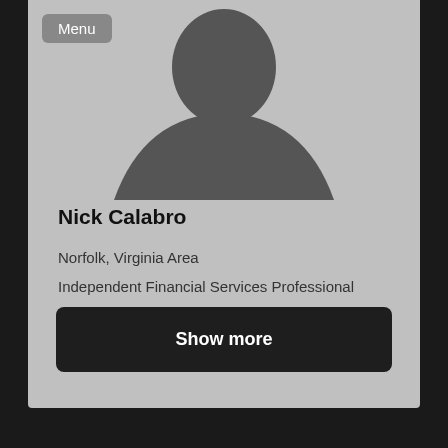Menu
[Figure (illustration): Default grey silhouette avatar placeholder showing head and shoulders of a person]
Nick Calabro
Norfolk, Virginia Area
Independent Financial Services Professional
Financial Services
Show more